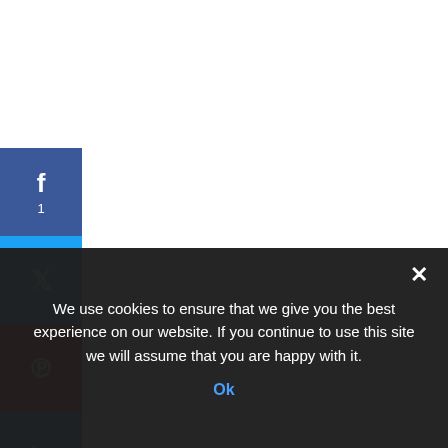To find out the hindering factors to reach final consumers.
4  SIGNIFICANCE OF THE STUDY
This study is meant to add more light on how to apply marketing concepts in an organization in order to achieve
We use cookies to ensure that we give you the best experience on our website. If you continue to use this site we will assume that you are happy with it.
Ok